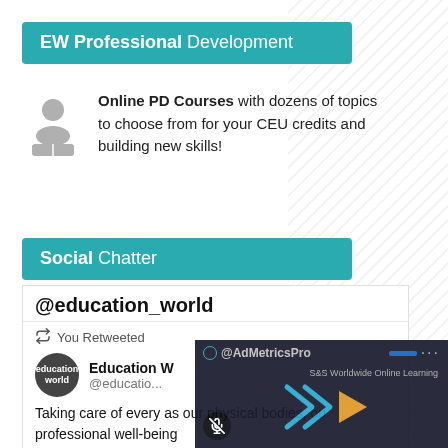EW Professional Development
Online PD Courses with dozens of topics to choose from for your CEU credits and building new skills!
Social Chatter
@education_world
You Retweeted
Education World @educatio...
Taking care of every as... our physical bodies, ou... professional well-being...
[Figure (screenshot): AdMetricsPro video overlay with play button and S&S Worldwide Online Learning text]